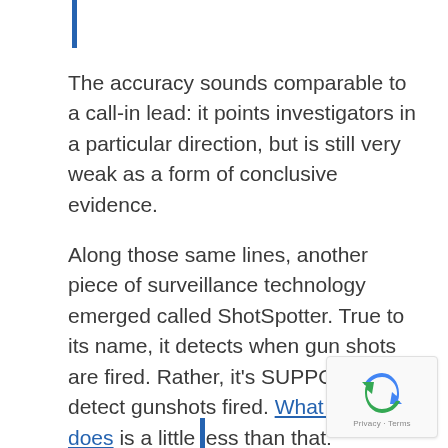The accuracy sounds comparable to a call-in lead: it points investigators in a particular direction, but is still very weak as a form of conclusive evidence.
Along those same lines, another piece of surveillance technology emerged called ShotSpotter. True to its name, it detects when gun shots are fired. Rather, it's SUPPOSED to detect gunshots fired. What it actually does is a little less than that: